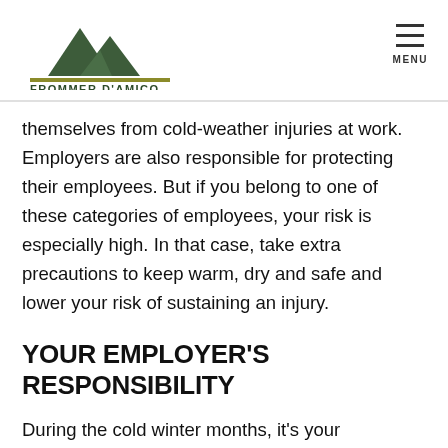FROMMER D'AMICO
themselves from cold-weather injuries at work. Employers are also responsible for protecting their employees. But if you belong to one of these categories of employees, your risk is especially high. In that case, take extra precautions to keep warm, dry and safe and lower your risk of sustaining an injury.
YOUR EMPLOYER'S RESPONSIBILITY
During the cold winter months, it's your employer's responsibility to do the following: